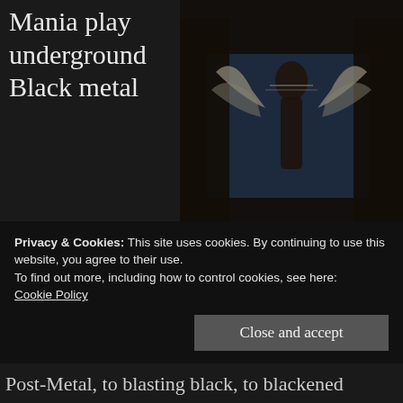Mania play underground Black metal
[Figure (illustration): Dark illustrated album artwork featuring figures with wings and chains against a blue and dark background, gothic/metal style imagery]
with added elements of, well, pretty much every other filthy, blood-caked underground Metal genre there is.
Privacy & Cookies: This site uses cookies. By continuing to use this website, you agree to their use.
To find out more, including how to control cookies, see here:
Cookie Policy
Post-Metal, to blasting black, to blackened